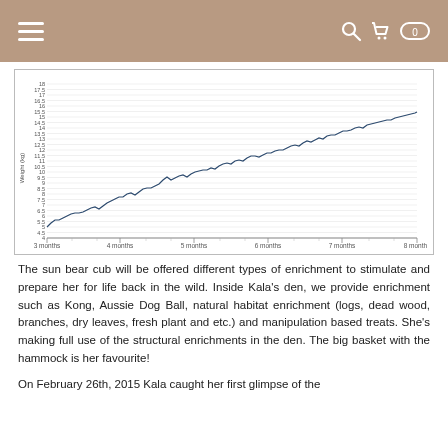Navigation header with hamburger menu and search/cart icons
[Figure (continuous-plot): Line chart showing sun bear cub weight (kg) vs Age (Days) from 3 months to 8 months, with a steadily increasing trend from approximately 4.5 kg to 17 kg]
The sun bear cub will be offered different types of enrichment to stimulate and prepare her for life back in the wild. Inside Kala’s den, we provide enrichment such as Kong, Aussie Dog Ball, natural habitat enrichment (logs, dead wood, branches, dry leaves, fresh plant and etc.) and manipulation based treats. She's making full use of the structural enrichments in the den. The big basket with the hammock is her favourite!
On February 26th, 2015 Kala caught her first glimpse of the